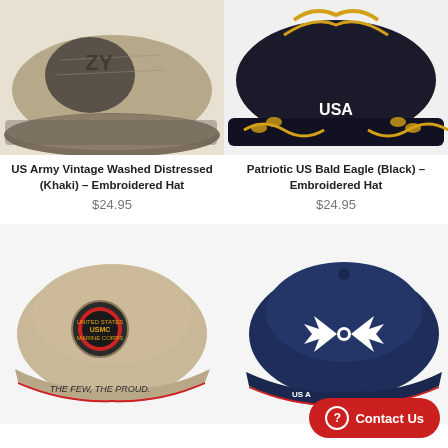[Figure (photo): US Army Vintage Washed Distressed khaki baseball cap, close-up of brim and crown]
US Army Vintage Washed Distressed (Khaki) – Embroidered Hat
$24.95
[Figure (photo): Patriotic US Bald Eagle Black embroidered hat with USA text and gold laurel wreath on brim]
Patriotic US Bald Eagle (Black) – Embroidered Hat
$24.95
[Figure (photo): Khaki US Marine Corps baseball cap with USMC emblem and THE FEW, THE PROUD text on brim]
[Figure (photo): Navy blue US Air Force baseball cap with white Air Force symbol embroidered on front]
Contact Us